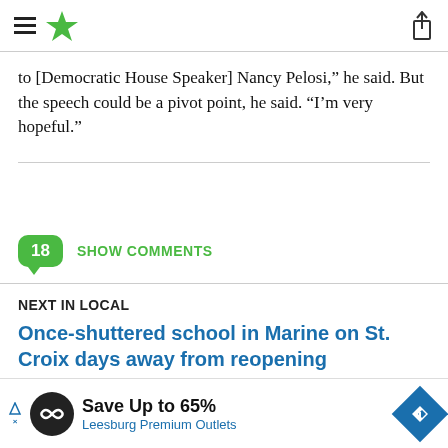StarTribune navigation header with hamburger menu, star logo, and share icon
to [Democratic House Speaker] Nancy Pelosi,” he said. But the speech could be a pivot point, he said. “I’m very hopeful.”
18 SHOW COMMENTS
NEXT IN LOCAL
Once-shuttered school in Marine on St. Croix days away from reopening
Lakewalk speed limit coming for e-bikes and scooters
[Figure (infographic): Ad banner: Save Up to 65% at Leesburg Premium Outlets]